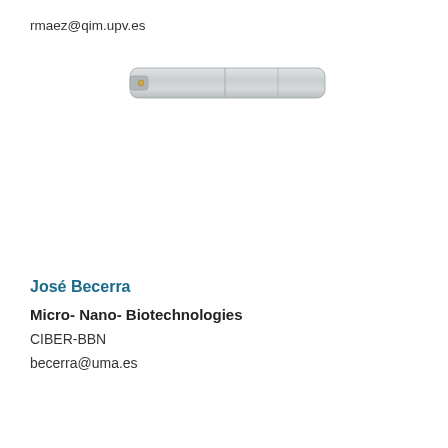rmaez@qim.upv.es
[Figure (photo): Partial photograph of a laboratory or medical device — a metal/silver elongated instrument or device, showing a top-down edge view with a connector visible, against a white background.]
José Becerra
Micro- Nano- Biotechnologies
CIBER-BBN
becerra@uma.es